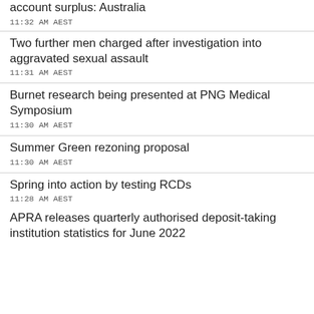account surplus: Australia
11:32 AM AEST
Two further men charged after investigation into aggravated sexual assault
11:31 AM AEST
Burnet research being presented at PNG Medical Symposium
11:30 AM AEST
Summer Green rezoning proposal
11:30 AM AEST
Spring into action by testing RCDs
11:28 AM AEST
APRA releases quarterly authorised deposit-taking institution statistics for June 2022